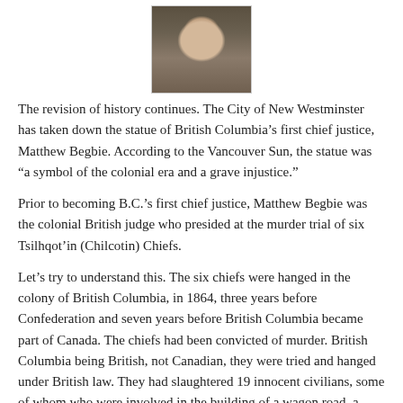[Figure (photo): Headshot photo of an older man with grey/white hair against a dark background]
The revision of history continues. The City of New Westminster has taken down the statue of British Columbia’s first chief justice, Matthew Begbie. According to the Vancouver Sun, the statue was “a symbol of the colonial era and a grave injustice.”
Prior to becoming B.C.’s first chief justice, Matthew Begbie was the colonial British judge who presided at the murder trial of six Tsilhqot’in (Chilcotin) Chiefs.
Let’s try to understand this. The six chiefs were hanged in the colony of British Columbia, in 1864, three years before Confederation and seven years before British Columbia became part of Canada. The chiefs had been convicted of murder. British Columbia being British, not Canadian, they were tried and hanged under British law. They had slaughtered 19 innocent civilians, some of whom who were involved in the building of a wagon road, a project that had been underway for two years.